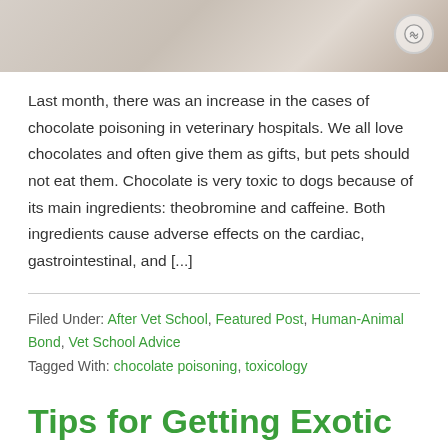[Figure (photo): Top portion of a photo showing chocolate pieces on a light surface with a circular watermark icon in the top right corner]
Last month, there was an increase in the cases of chocolate poisoning in veterinary hospitals. We all love chocolates and often give them as gifts, but pets should not eat them. Chocolate is very toxic to dogs because of its main ingredients: theobromine and caffeine. Both ingredients cause adverse effects on the cardiac, gastrointestinal, and [...]
Filed Under: After Vet School, Featured Post, Human-Animal Bond, Vet School Advice
Tagged With: chocolate poisoning, toxicology
Tips for Getting Exotic Animal Experience